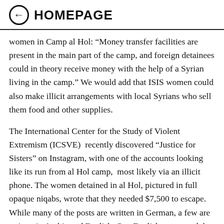HOMEPAGE
women in Camp al Hol: “Money transfer facilities are present in the main part of the camp, and foreign detainees could in theory receive money with the help of a Syrian living in the camp.” We would add that ISIS women could also make illicit arrangements with local Syrians who sell them food and other supplies.
The International Center for the Study of Violent Extremism (ICSVE)  recently discovered “Justice for Sisters” on Instagram, with one of the accounts looking like its run from al Hol camp,  most likely via an illicit phone. The women detained in al Hol, pictured in full opaque niqabs, wrote that they needed $7,500 to escape. While many of the posts are written in German, a few are written in Arabic and English. One English post noted the